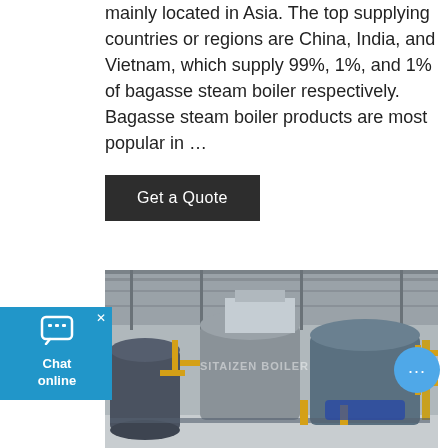mainly located in Asia. The top supplying countries or regions are China, India, and Vietnam, which supply 99%, 1%, and 1% of bagasse steam boiler respectively. Bagasse steam boiler products are most popular in ...
Get a Quote
[Figure (photo): Industrial boiler facility showing large cylindrical steam boilers in a factory setting with yellow piping, steel structures, and overhead lighting. Watermark reads SITAIZEN BOILER.]